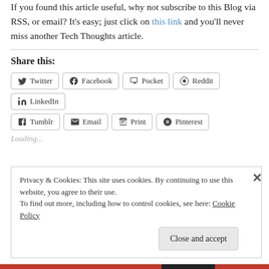If you found this article useful, why not subscribe to this Blog via RSS, or email? It's easy; just click on this link and you'll never miss another Tech Thoughts article.
Share this:
[Figure (other): Social share buttons: Twitter, Facebook, Pocket, Reddit, LinkedIn, Tumblr, Email, Print, Pinterest]
Loading...
Privacy & Cookies: This site uses cookies. By continuing to use this website, you agree to their use. To find out more, including how to control cookies, see here: Cookie Policy